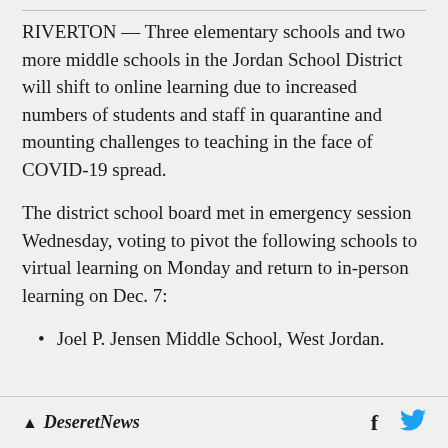RIVERTON — Three elementary schools and two more middle schools in the Jordan School District will shift to online learning due to increased numbers of students and staff in quarantine and mounting challenges to teaching in the face of COVID-19 spread.
The district school board met in emergency session Wednesday, voting to pivot the following schools to virtual learning on Monday and return to in-person learning on Dec. 7:
Joel P. Jensen Middle School, West Jordan.
Deseret News